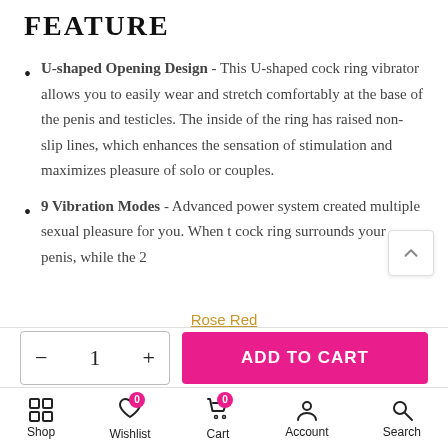FEATURE
U-shaped Opening Design - This U-shaped cock ring vibrator allows you to easily wear and stretch comfortably at the base of the penis and testicles. The inside of the ring has raised non-slip lines, which enhances the sensation of stimulation and maximizes pleasure of solo or couples.
9 Vibration Modes - Advanced power system created multiple sexual pleasure for you. When the cock ring surrounds your penis, while the 2
Rose Red
- 1 + ADD TO CART
Shop  Wishlist 0  Cart 0  Account  Search